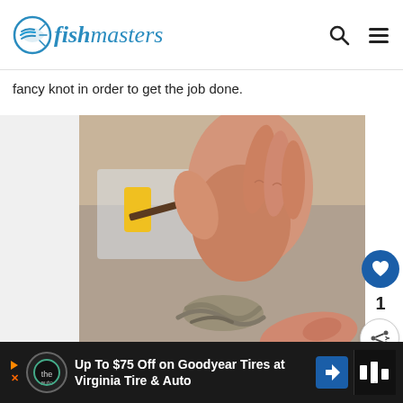fishmasters
fancy knot in order to get the job done.
[Figure (photo): Close-up photo of a hand tying a rope/fishing knot over a plastic container, with fishing equipment visible in the background.]
WHAT'S NEXT → Surf Fishing Tips: Tricks ...
Up To $75 Off on Goodyear Tires at Virginia Tire & Auto